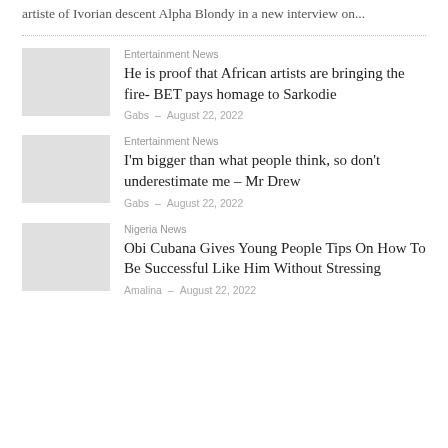artiste of Ivorian descent Alpha Blondy in a new interview on...
Entertainment News
He is proof that African artists are bringing the fire- BET pays homage to Sarkodie
Gabs  –  August 22, 2022
Entertainment News
I'm bigger than what people think, so don't underestimate me – Mr Drew
Gabs  –  August 22, 2022
Nigeria News
Obi Cubana Gives Young People Tips On How To Be Successful Like Him Without Stressing
Amalina  –  August 22, 2022